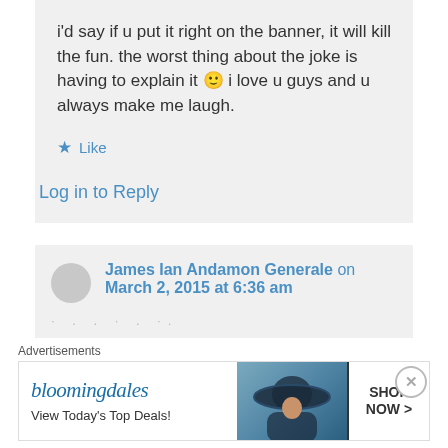i'd say if u put it right on the banner, it will kill the fun. the worst thing about the joke is having to explain it 🙂 i love u guys and u always make me laugh.
Like
Log in to Reply
James Ian Andamon Generale on March 2, 2015 at 6:36 am
Advertisements
[Figure (other): Bloomingdale's advertisement banner with logo, 'View Today's Top Deals!' text, woman with hat photo, and 'SHOP NOW >' button]